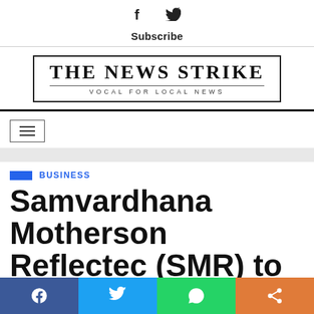Subscribe
[Figure (logo): The News Strike newspaper logo - 'THE NEWS STRIKE / VOCAL FOR LOCAL NEWS']
BUSINESS
Samvardhana Motherson Reflectec (SMR) to strengthen its
Social share bar: Facebook, Twitter, WhatsApp, Share